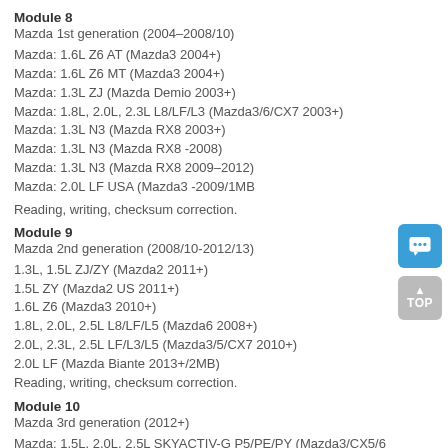Module 8
Mazda 1st generation (2004–2008/10)
Mazda: 1.6L Z6 AT (Mazda3 2004+)
Mazda: 1.6L Z6 MT (Mazda3 2004+)
Mazda: 1.3L ZJ (Mazda Demio 2003+)
Mazda: 1.8L, 2.0L, 2.3L L8/LF/L3 (Mazda3/6/CX7 2003+)
Mazda: 1.3L N3 (Mazda RX8 2003+)
Mazda: 1.3L N3 (Mazda RX8 -2008)
Mazda: 1.3L N3 (Mazda RX8 2009–2012)
Mazda: 2.0L LF USA (Mazda3 -2009/1MB
Reading, writing, checksum correction.
Module 9
Mazda 2nd generation (2008/10-2012/13)
1.3L, 1.5L ZJ/ZY (Mazda2 2011+)
1.5L ZY (Mazda2 US 2011+)
1.6L Z6 (Mazda3 2010+)
1.8L, 2.0L, 2.5L L8/LF/L5 (Mazda6 2008+)
2.0L, 2.3L, 2.5L LF/L3/L5 (Mazda3/5/CX7 2010+)
2.0L LF (Mazda Biante 2013+/2MB)
Reading, writing, checksum correction.
Module 10
Mazda 3rd generation (2012+)
Mazda: 1.5L, 2.0L, 2.5L SKYACTIV-G P5/PE/PY (Mazda3/CX5/6 SkyActiv Mitsubish*i)
Mazda: 1.5L, 2.0L, 2.5L SKYACTIV-G P5/PE/PY (Mazda3/CX5/6 SkyActiv Denso)